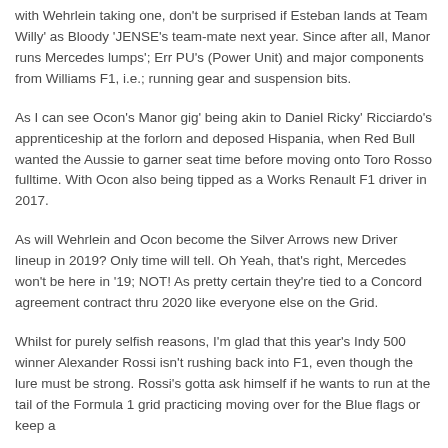with Wehrlein taking one, don't be surprised if Esteban lands at Team Willy' as Bloody 'JENSE's team-mate next year. Since after all, Manor runs Mercedes lumps'; Err PU's (Power Unit) and major components from Williams F1, i.e.; running gear and suspension bits.
As I can see Ocon's Manor gig' being akin to Daniel Ricky' Ricciardo's apprenticeship at the forlorn and deposed Hispania, when Red Bull wanted the Aussie to garner seat time before moving onto Toro Rosso fulltime. With Ocon also being tipped as a Works Renault F1 driver in 2017.
As will Wehrlein and Ocon become the Silver Arrows new Driver lineup in 2019? Only time will tell. Oh Yeah, that's right, Mercedes won't be here in '19; NOT! As pretty certain they're tied to a Concord agreement contract thru 2020 like everyone else on the Grid.
Whilst for purely selfish reasons, I'm glad that this year's Indy 500 winner Alexander Rossi isn't rushing back into F1, even though the lure must be strong. Rossi's gotta ask himself if he wants to run at the tail of the Formula 1 grid practicing moving over for the Blue flags or keep a